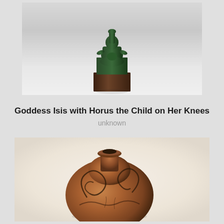[Figure (photo): Bronze figurine of Goddess Isis with Horus the Child on Her Knees, seated on a rectangular base, against a light gray background]
Goddess Isis with Horus the Child on Her Knees
unknown
[Figure (photo): Ancient ceramic vessel with a round bulbous body, narrow neck, and dark swirling decorative patterns on a brown earthenware surface, against a light background]